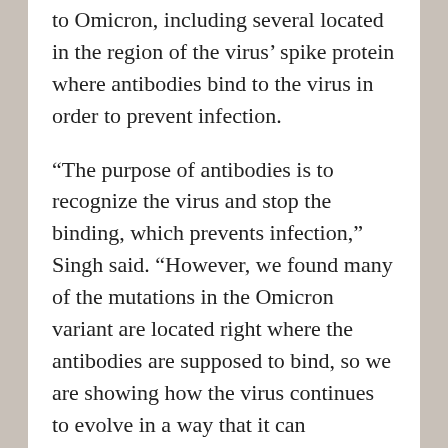to Omicron, including several located in the region of the virus' spike protein where antibodies bind to the virus in order to prevent infection.
“The purpose of antibodies is to recognize the virus and stop the binding, which prevents infection,” Singh said. “However, we found many of the mutations in the Omicron variant are located right where the antibodies are supposed to bind, so we are showing how the virus continues to evolve in a way that it can potentially escape or evade the existing antibodies, and therefore continue to infect so many people.”
As antiviral treatments for individuals infected with COVID-19 continue to be developed, Singh explained that having a better understanding of how the virus is evolving will help ensure future